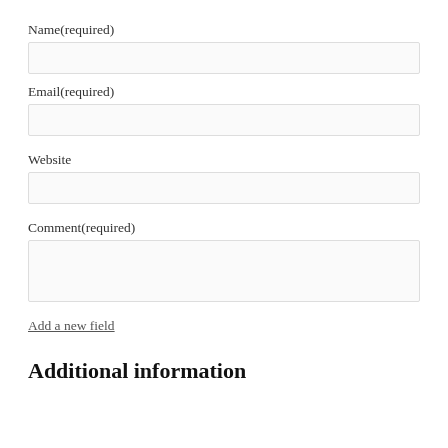Name(required)
[Figure (other): Text input field for Name]
Email(required)
[Figure (other): Text input field for Email]
Website
[Figure (other): Text input field for Website]
Comment(required)
[Figure (other): Textarea field for Comment]
Add a new field
Additional information